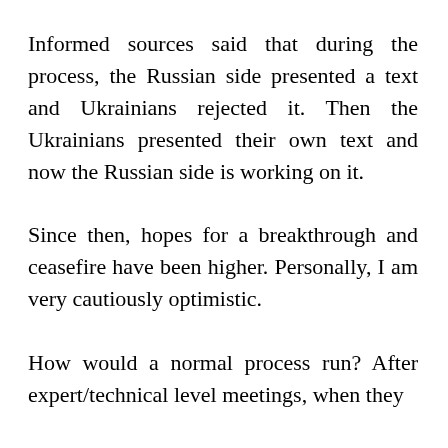Informed sources said that during the process, the Russian side presented a text and Ukrainians rejected it. Then the Ukrainians presented their own text and now the Russian side is working on it.
Since then, hopes for a breakthrough and ceasefire have been higher. Personally, I am very cautiously optimistic.
How would a normal process run? After expert/technical level meetings, when they